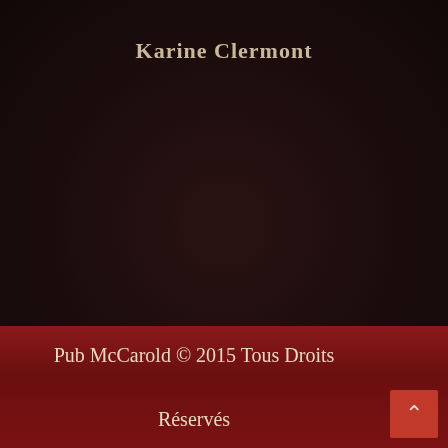Karine Clermont
Pub McCarold © 2015 Tous Droits

Réservés